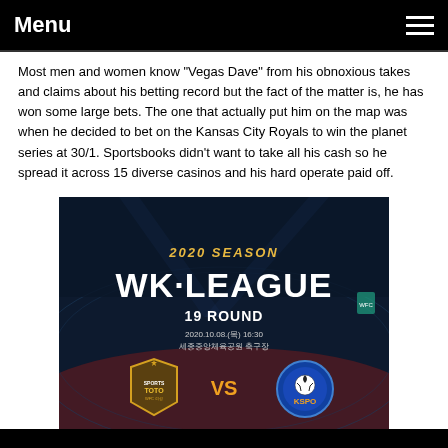Menu
Most men and women know "Vegas Dave" from his obnoxious takes and claims about his betting record but the fact of the matter is, he has won some large bets. The one that actually put him on the map was when he decided to bet on the Kansas City Royals to win the planet series at 30/1. Sportsbooks didn't want to take all his cash so he spread it across 15 diverse casinos and his hard operate paid off.
[Figure (photo): 2020 Season WK League 19 Round promotional image showing Sports Toto vs KSPO match on 2020.10.08 at 16:30]